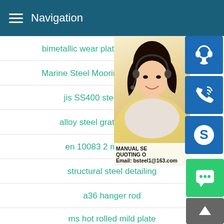Navigation
bimetallic wear plate for mining and q…
Marine Steel Mooring Components M…
jis SS400 steel properties
alloy steel grate plate with g…
en 10083 2 material com…
structural steel detailing
a36 hanger rod
ms hot rolled mild plate
[Figure (photo): Customer service representative (woman with headset) photo with blue service icon buttons (headset icon, phone icon, Skype icon) overlaid on the right side, and promotional text overlay reading MANUAL SE…, QUOTING O…, Email: bsteel1@163.com]
[Figure (other): Green chat bubble button at bottom right]
[Figure (other): Dark grey scroll-to-top button with up arrow at bottom right]